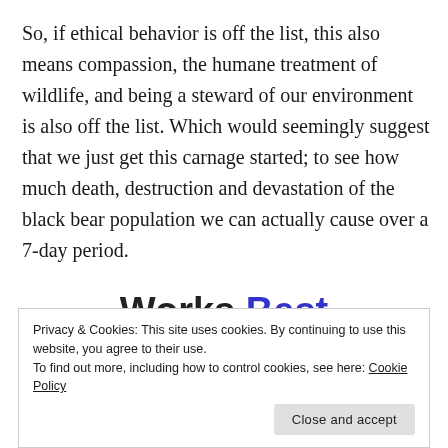So, if ethical behavior is off the list, this also means compassion, the humane treatment of wildlife, and being a steward of our environment is also off the list. Which would seemingly suggest that we just get this carnage started; to see how much death, destruction and devastation of the black bear population we can actually cause over a 7-day period.
Works Best
Privacy & Cookies: This site uses cookies. By continuing to use this website, you agree to their use.
To find out more, including how to control cookies, see here: Cookie Policy
Close and accept